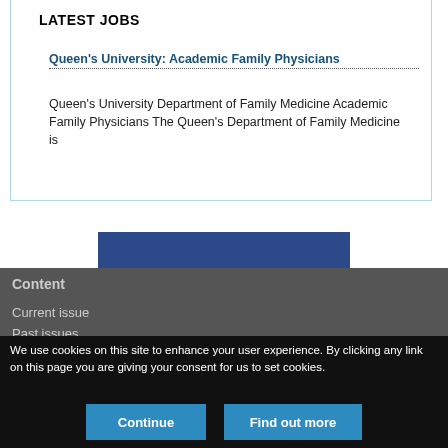LATEST JOBS
Queen's University: Academic Family Physicians
Queen's University Department of Family Medicine Academic Family Physicians The Queen's Department of Family Medicine is
[Figure (other): Blue promotional banner: View the latest classified ads from CMAJ]
Content
Current issue
Past issues
We use cookies on this site to enhance your user experience. By clicking any link on this page you are giving your consent for us to set cookies.
Continue
Find out more